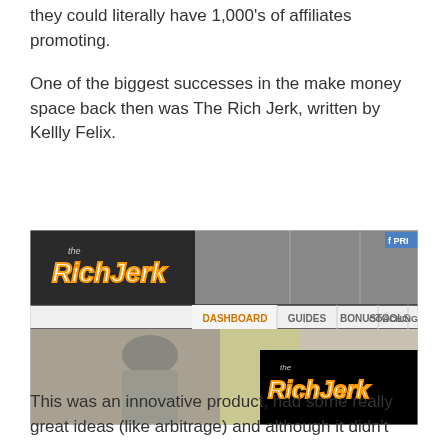they could literally have 1,000's of affiliates promoting.
One of the biggest successes in the make money space back then was The Rich Jerk, written by Kellly Felix.
[Figure (screenshot): Screenshot of The Rich Jerk website dashboard showing navigation menu with DASHBOARD, GUIDES, BONUS, TOOLS, COACHING tabs, a man wearing sunglasses and a sparkly jacket, and The Rich Jerk logo on a black background.]
This was an innovative product, had some really great ideas (like arbitrage) and although it didn't